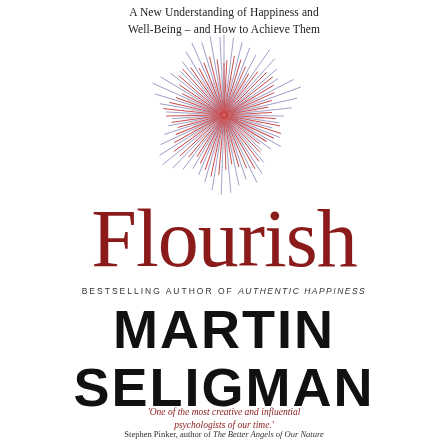A New Understanding of Happiness and Well-Being – and How to Achieve Them
[Figure (illustration): Decorative circular burst/flower illustration with radiating lines in pink/red and blue/violet tones, resembling a firework or botanical specimen]
Flourish
BESTSELLING AUTHOR OF AUTHENTIC HAPPINESS
MARTIN SELIGMAN
'One of the most creative and influential psychologists of our time.'
Stephen Pinker, author of The Better Angels of Our Nature